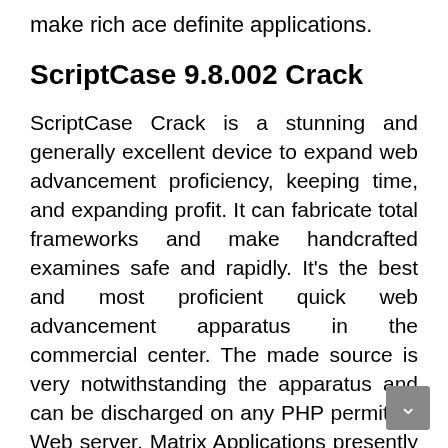make rich ace definite applications.
ScriptCase 9.8.002 Crack
ScriptCase Crack is a stunning and generally excellent device to expand web advancement proficiency, keeping time, and expanding profit. It can fabricate total frameworks and make handcrafted examines safe and rapidly. It's the best and most proficient quick web advancement apparatus in the commercial center. The made source is very notwithstanding the apparatus and can be discharged on any PHP permitted Web server. Matrix Applications presently has full AJAX support. Explore your pages of the Grid program and never need to reload the site. This new activity permits a quicker